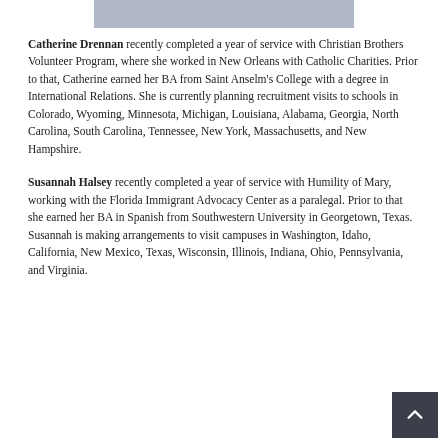[Figure (photo): Partial photo strip at top of page showing people]
Catherine Drennan recently completed a year of service with Christian Brothers Volunteer Program, where she worked in New Orleans with Catholic Charities. Prior to that, Catherine earned her BA from Saint Anselm's College with a degree in International Relations. She is currently planning recruitment visits to schools in Colorado, Wyoming, Minnesota, Michigan, Louisiana, Alabama, Georgia, North Carolina, South Carolina, Tennessee, New York, Massachusetts, and New Hampshire.
Susannah Halsey recently completed a year of service with Humility of Mary, working with the Florida Immigrant Advocacy Center as a paralegal. Prior to that she earned her BA in Spanish from Southwestern University in Georgetown, Texas. Susannah is making arrangements to visit campuses in Washington, Idaho, California, New Mexico, Texas, Wisconsin, Illinois, Indiana, Ohio, Pennsylvania, and Virginia.